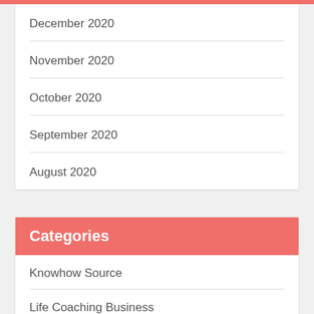December 2020
November 2020
October 2020
September 2020
August 2020
Categories
Knowhow Source
Life Coaching Business
Online Art Lessons